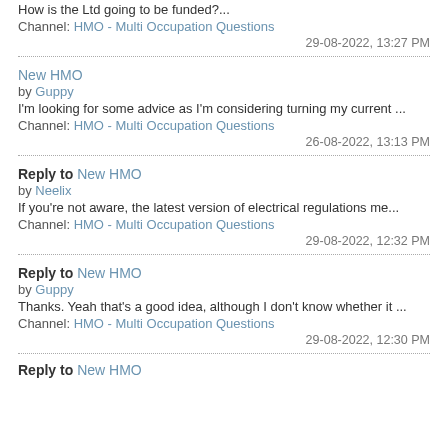How is the Ltd going to be funded?...
Channel: HMO - Multi Occupation Questions
29-08-2022, 13:27 PM
New HMO
by Guppy
I'm looking for some advice as I'm considering turning my current ...
Channel: HMO - Multi Occupation Questions
26-08-2022, 13:13 PM
Reply to New HMO
by Neelix
If you're not aware, the latest version of electrical regulations me...
Channel: HMO - Multi Occupation Questions
29-08-2022, 12:32 PM
Reply to New HMO
by Guppy
Thanks. Yeah that's a good idea, although I don't know whether it ...
Channel: HMO - Multi Occupation Questions
29-08-2022, 12:30 PM
Reply to New HMO